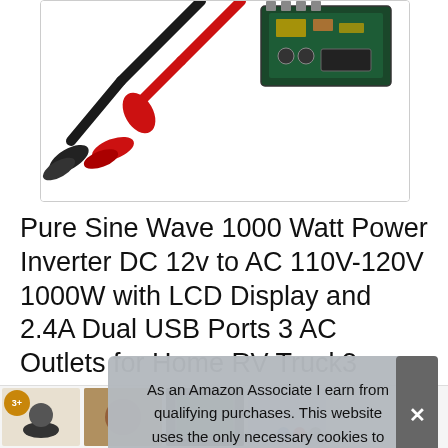[Figure (photo): Product photo showing alligator clip cables (black and red) and a circuit board module on white background, inside a bordered box.]
Pure Sine Wave 1000 Watt Power Inverter DC 12v to AC 110V-120V 1000W with LCD Display and 2.4A Dual USB Ports 3 AC Outlets for Home RV Truck3 Years Warranty by VOLTWORKS
As an Amazon Associate I earn from qualifying purchases. This website uses the only necessary cookies to ensure you get the best experience on our website. More information
[Figure (photo): Row of small thumbnail product images at the bottom of the page, with a badge showing '3+' and colored navigation dots.]